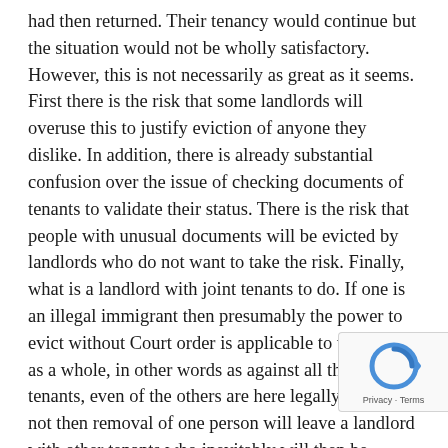had then returned. Their tenancy would continue but the situation would not be wholly satisfactory. However, this is not necessarily as great as it seems. First there is the risk that some landlords will overuse this to justify eviction of anyone they dislike. In addition, there is already substantial confusion over the issue of checking documents of tenants to validate their status. There is the risk that people with unusual documents will be evicted by landlords who do not want to take the risk. Finally, what is a landlord with joint tenants to do. If one is an illegal immigrant then presumably the power to evict without Court order is applicable to the tenant as a whole, in other words as against all the joint tenants, even of the others are here legally. If it is not then removal of one person will leave a landlord with other tenants who inevitably will then be unable to afford the rent.

Given the existing confusion over Right to Rent